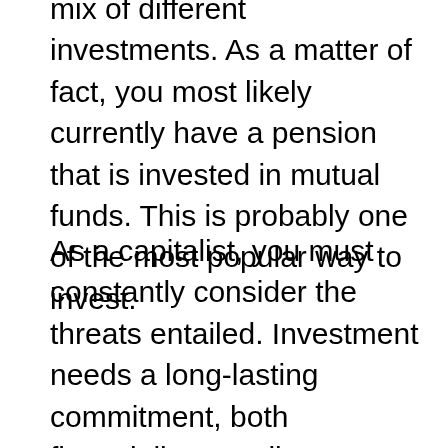mix of different investments. As a matter of fact, you most likely currently have a pension that is invested in mutual funds. This is probably one of the most popular way to invest.
As a capitalist, you must constantly consider the threats entailed. Investment needs a long-lasting commitment, both financially as well as emotionally. Most Americans commonly invest via their 401(k) or 403(b) plan, or enlist in an employer retirement. You ought to develop a strategy for spending, deciding just how much cash you wish to spend as well as the quantity of threat you fit taking. Additionally, you need to consider the timeline needed to accomplish your economic objectives.
There are several sorts of investments available out there. Some are riskier than others, and also some can be much better fit for your demands. As a whole, the 4 major sorts